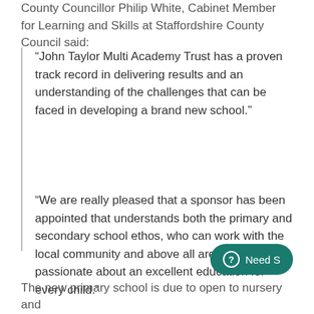County Councillor Philip White, Cabinet Member for Learning and Skills at Staffordshire County Council said:
“John Taylor Multi Academy Trust has a proven track record in delivering results and an understanding of the challenges that can be faced in developing a brand new school.”
“We are really pleased that a sponsor has been appointed that understands both the primary and secondary school ethos, who can work with the local community and above all are excited and passionate about an excellent education for every child.”
The new primary school is due to open to nursery and